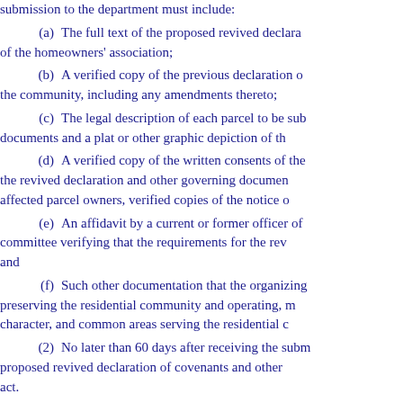submission to the department must include:
(a)   The full text of the proposed revived declaration of the homeowners' association;
(b)   A verified copy of the previous declaration of the community, including any amendments thereto;
(c)   The legal description of each parcel to be subject to the documents and a plat or other graphic depiction of the
(d)   A verified copy of the written consents of the the revived declaration and other governing documents affected parcel owners, verified copies of the notice of
(e)   An affidavit by a current or former officer of the committee verifying that the requirements for the rev and
(f)   Such other documentation that the organizing preserving the residential community and operating, maintaining character, and common areas serving the residential c
(2)   No later than 60 days after receiving the subm proposed revived declaration of covenants and other act.
(a)   If the department determines that the propose comply with the act and have been approved by the p notify the organizing committee in writing of its appr
(b)   If the department determines that the propose